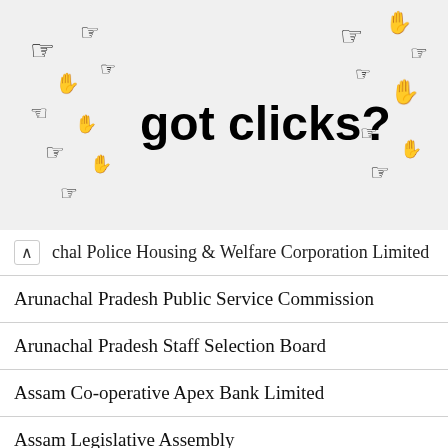[Figure (other): Advertisement banner with cursor icons and text 'got clicks?']
chal Police Housing & Welfare Corporation Limited
Arunachal Pradesh Public Service Commission
Arunachal Pradesh Staff Selection Board
Assam Co-operative Apex Bank Limited
Assam Legislative Assembly
Assam Postal Circle
Assam Power Distribution Company Limited
Assam Rifles
Assistant
Assistant Professor
B.Ed